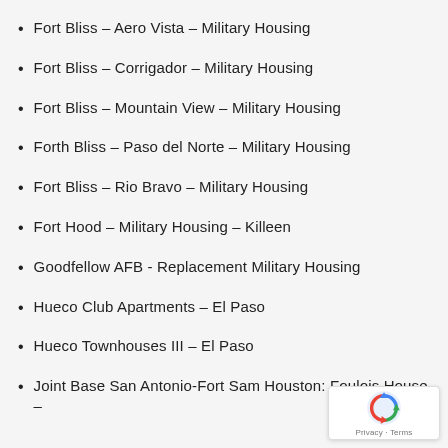Fort Bliss – Aero Vista – Military Housing
Fort Bliss – Corrigador – Military Housing
Fort Bliss – Mountain View – Military Housing
Forth Bliss – Paso del Norte – Military Housing
Fort Bliss – Rio Bravo – Military Housing
Fort Hood – Military Housing – Killeen
Goodfellow AFB - Replacement Military Housing
Hueco Club Apartments – El Paso
Hueco Townhouses III – El Paso
Joint Base San Antonio-Fort Sam Houston: Foulois House –